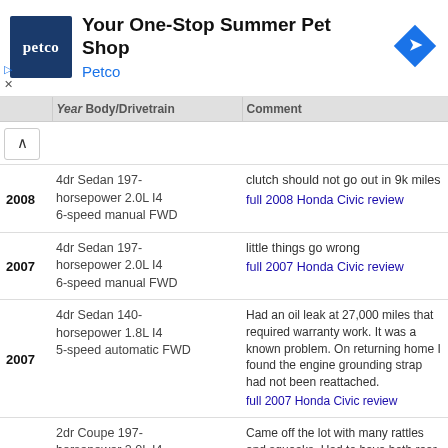[Figure (screenshot): Petco advertisement banner: blue Petco logo square, headline 'Your One-Stop Summer Pet Shop', subtext 'Petco' in blue, blue diamond navigation icon on right, ad controls (triangle/X) on lower left.]
| Year | Body/Drivetrain | Comment |
| --- | --- | --- |
| 2008 | 4dr Sedan 197-horsepower 2.0L I4 6-speed manual FWD | clutch should not go out in 9k miles
full 2008 Honda Civic review |
| 2007 | 4dr Sedan 197-horsepower 2.0L I4 6-speed manual FWD | little things go wrong
full 2007 Honda Civic review |
| 2007 | 4dr Sedan 140-horsepower 1.8L I4 5-speed automatic FWD | Had an oil leak at 27,000 miles that required warranty work. It was a known problem. On returning home I found the engine grounding strap had not been reattached.
full 2007 Honda Civic review |
| 2007 | 2dr Coupe 197-horsepower 2.0L I4 6-speed manual FWD | Came off the lot with many rattles and squeaks. Had to have both rear bearings replaced and had a third gear issue. Had to have transmission rebuilt to repair 3rd gear.
full 2007 Honda Civic review |
|  |  | Major rear suspension problems that |